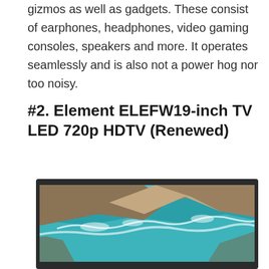gizmos as well as gadgets. These consist of earphones, headphones, video gaming consoles, speakers and more. It operates seamlessly and is also not a power hog nor too noisy.
#2. Element ELEFW19-inch TV LED 720p HDTV (Renewed)
[Figure (photo): A flat-screen LED TV with a dark frame displaying an aerial/drone photograph of a coastline with turquoise water, rocky shores, and sandy terrain.]